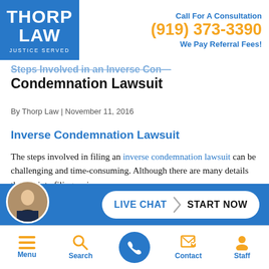THORP LAW JUSTICE SERVED | Call For A Consultation (919) 373-3390 We Pay Referral Fees!
Steps Involved in an Inverse Condemnation Lawsuit
By Thorp Law | November 11, 2016
Inverse Condemnation Lawsuit
The steps involved in filing an inverse condemnation lawsuit can be challenging and time-consuming. Although there are many details that go into filing an inverse condemnation...
[Figure (screenshot): Live Chat / Start Now chat widget button with attorney avatar on blue bar]
Menu | Search | (phone call button) | Contact | Staff